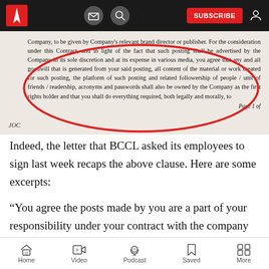SUBSCRIBE
[Figure (screenshot): Scanned contract document page with red oval annotation highlighting text about company ownership of goodwill, content, platform, followership, acronyms and passwords. Text reads: 'Company, to be given by Company's relevant brand director or publisher. For the consideration under this Contract, and in light of the fact that such posting shall be advertised by the Company in its sole discretion and at its expense in various media, you agree that any and all goodwill that is generated from your said posting, all content of the material or work created for such posting, the platform of such posting and related followership of people / unit of friends / readership, acronyms and passwords shall also be owned by the Company as the first rights holder and that you shall do everything required, both legally and morally, to' Page 1 of...]
Indeed, the letter that BCCL asked its employees to sign last week recaps the above clause. Here are some excerpts:
“You agree the posts made by you are a part of your responsibility under your contract with the company and the user account and the related
Home  Video  Podcast  Saved  More